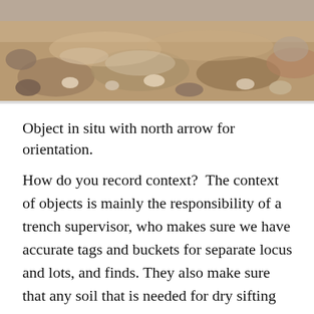[Figure (photo): Archaeological excavation photo showing soil and rocks in situ, viewed from above, with brownish earth tones. Top portion of the image is visible, showing a trench or ground surface with scattered stones.]
Object in situ with north arrow for orientation.
How do you record context?  The context of objects is mainly the responsibility of a trench supervisor, who makes sure we have accurate tags and buckets for separate locus and lots, and finds. They also make sure that any soil that is needed for dry sifting has a tag, in addition to any bones or sherds, and any artifacts. They are also the ones who record the points